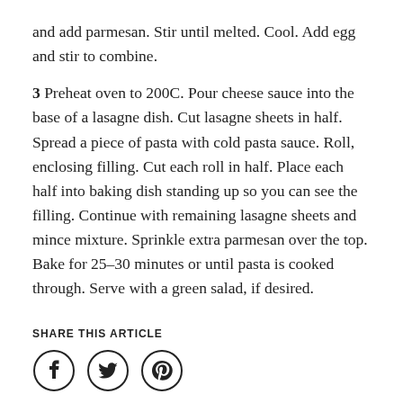and add parmesan. Stir until melted. Cool. Add egg and stir to combine.
3 Preheat oven to 200C. Pour cheese sauce into the base of a lasagne dish. Cut lasagne sheets in half. Spread a piece of pasta with cold pasta sauce. Roll, enclosing filling. Cut each roll in half. Place each half into baking dish standing up so you can see the filling. Continue with remaining lasagne sheets and mince mixture. Sprinkle extra parmesan over the top. Bake for 25–30 minutes or until pasta is cooked through. Serve with a green salad, if desired.
SHARE THIS ARTICLE
[Figure (other): Three social media share icons: Facebook, Twitter, Pinterest — each in a circle outline]